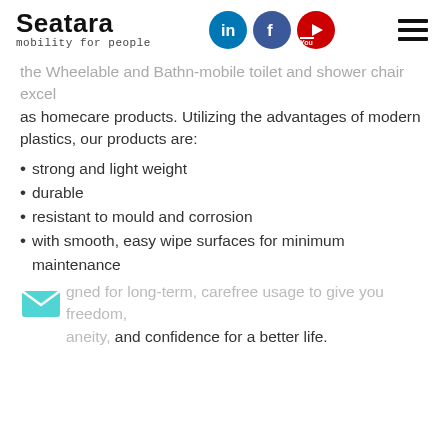Seatara mobility for people
the Wheelable and Bathn-mobile toilet and shower chair excel as homecare products. Utilizing the advantages of modern plastics, our products are:
strong and light weight
durable
resistant to mould and corrosion
with smooth, easy wipe surfaces for minimum maintenance
...gned for long-term, carefree usage to give you freedom, ...aneity, and confidence for a better life.